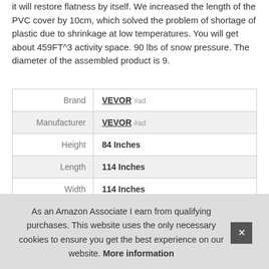it will restore flatness by itself. We increased the length of the PVC cover by 10cm, which solved the problem of shortage of plastic due to shrinkage at low temperatures. You will get about 459FT^3 activity space. 90 lbs of snow pressure. The diameter of the assembled product is 9.
|  |  |
| --- | --- |
| Brand | VEVOR #ad |
| Manufacturer | VEVOR #ad |
| Height | 84 Inches |
| Length | 114 Inches |
| Width | 114 Inches |
| P |  |
As an Amazon Associate I earn from qualifying purchases. This website uses the only necessary cookies to ensure you get the best experience on our website. More information